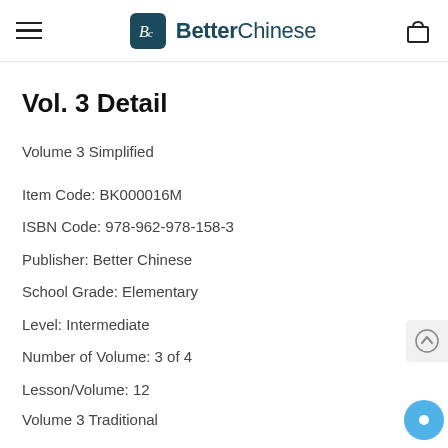BetterChinese
Vol. 3 Detail
Volume 3 Simplified
Item Code: BK000016M
ISBN Code: 978-962-978-158-3
Publisher: Better Chinese
School Grade: Elementary
Level: Intermediate
Number of Volume: 3 of 4
Lesson/Volume: 12
Volume 3 Traditional